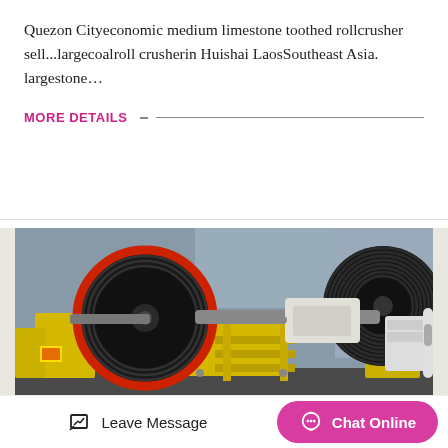Quezon Cityeconomic medium limestone toothed rollcrusher sell...largecoalroll crusherin Huishai LaosSoutheast Asia. largestone…
MORE DETAILS
[Figure (photo): Industrial jaw crusher / roll crusher machine with large black rubber-rimmed flywheels and yellow painted body, photographed in an industrial warehouse setting.]
Leave Message
Chat Online